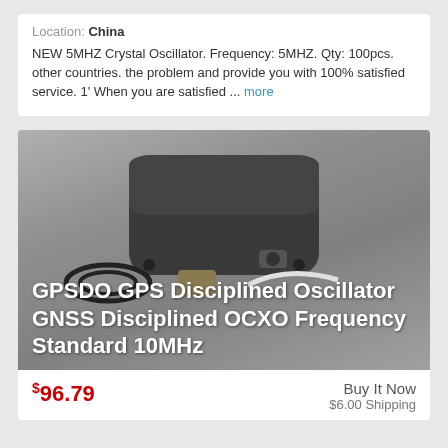Location: China
NEW 5MHZ Crystal Oscillator. Frequency: 5MHZ. Qty: 100pcs. other countries. the problem and provide you with 100% satisfied service. 1' When you are satisfied ... more
[Figure (photo): Photo of a dark rectangular GPS Disciplined Oscillator device (GPSDO) with accessories, overlaid with white bold text reading: GPSDO GPS Disciplined Oscillator GNSS Disciplined OCXO Frequency Standard 10MHz]
$96.79   Buy It Now   $6.00 Shipping